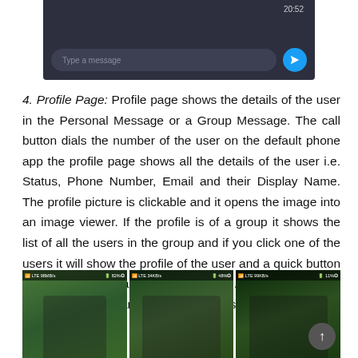[Figure (screenshot): Bottom portion of a dark-themed messaging app screen showing a message input bar with 'Type a message' placeholder and a blue send button, with time 20:52 shown top right]
4. Profile Page: Profile page shows the details of the user in the Personal Message or a Group Message. The call button dials the number of the user on the default phone app the profile page shows all the details of the user i.e. Status, Phone Number, Email and their Display Name. The profile picture is clickable and it opens the image into an image viewer. If the profile is of a group it shows the list of all the users in the group and if you click one of the users it will show the profile of the user and a quick button to message and call the user selected. If the current user is an admin you can remove / add / user,  make / remove admin.
[Figure (screenshot): Three app screenshots showing profile pages with people photos against greenery backgrounds, with status bars at top. A circular scroll-to-top button is visible at bottom right.]